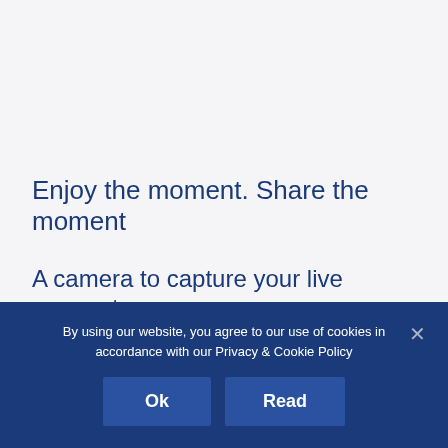Enjoy the moment. Share the moment
A camera to capture your live moments
The Galaxy Tab A7 camera is ready to capture and
By using our website, you agree to our use of cookies in accordance with our Privacy & Cookie Policy